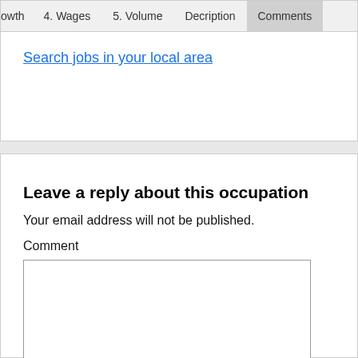owth   4. Wages   5. Volume   Decription   Comments
Search jobs in your local area
Leave a reply about this occupation
Your email address will not be published.
Comment